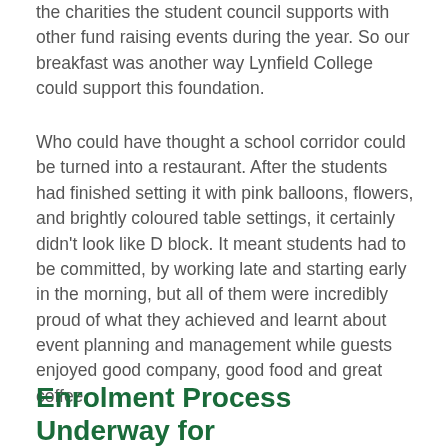the charities the student council supports with other fund raising events during the year. So our breakfast was another way Lynfield College could support this foundation.
Who could have thought a school corridor could be turned into a restaurant. After the students had finished setting it with pink balloons, flowers, and brightly coloured table settings, it certainly didn't look like D block. It meant students had to be committed, by working late and starting early in the morning, but all of them were incredibly proud of what they achieved and learnt about event planning and management while guests enjoyed good company, good food and great coffee.
Enrolment Process Underway for